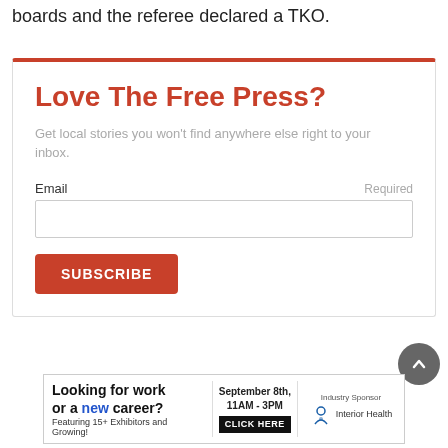boards and the referee declared a TKO.
Love The Free Press?
Get local stories you won't find anywhere else right to your inbox.
Email  Required
[Figure (infographic): Newsletter subscription box with email input field and SUBSCRIBE button]
[Figure (infographic): Advertisement banner: Looking for work or a new career? September 8th, 11AM-3PM. Featuring 15+ Exhibitors and Growing! CLICK HERE. Industry Sponsor: Interior Health]